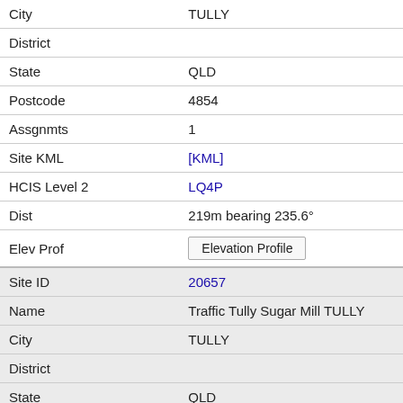| City | TULLY |
| District |  |
| State | QLD |
| Postcode | 4854 |
| Assgnmts | 1 |
| Site KML | [KML] |
| HCIS Level 2 | LQ4P |
| Dist | 219m bearing 235.6° |
| Elev Prof | Elevation Profile |
| Site ID | 20657 |
| Name | Traffic Tully Sugar Mill TULLY |
| City | TULLY |
| District |  |
| State | QLD |
| Postcode | 4854 |
| Assgnmts | 4 |
| Site KML | [KML] |